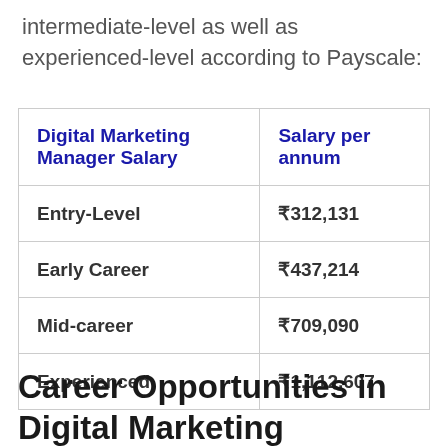intermediate-level as well as experienced-level according to Payscale:
| Digital Marketing Manager Salary | Salary per annum |
| --- | --- |
| Entry-Level | ₹312,131 |
| Early Career | ₹437,214 |
| Mid-career | ₹709,090 |
| Experienced | ₹1,112,607 |
Career Opportunities in Digital Marketing